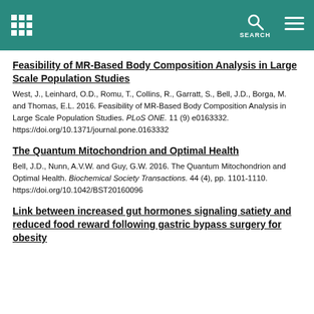SEARCH
Feasibility of MR-Based Body Composition Analysis in Large Scale Population Studies
West, J., Leinhard, O.D., Romu, T., Collins, R., Garratt, S., Bell, J.D., Borga, M. and Thomas, E.L. 2016. Feasibility of MR-Based Body Composition Analysis in Large Scale Population Studies. PLoS ONE. 11 (9) e0163332. https://doi.org/10.1371/journal.pone.0163332
The Quantum Mitochondrion and Optimal Health
Bell, J.D., Nunn, A.V.W. and Guy, G.W. 2016. The Quantum Mitochondrion and Optimal Health. Biochemical Society Transactions. 44 (4), pp. 1101-1110. https://doi.org/10.1042/BST20160096
Link between increased gut hormones signaling satiety and reduced food reward following gastric bypass surgery for obesity